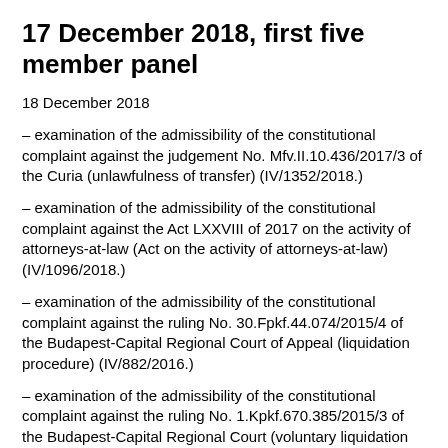17 December 2018, first five member panel
18 December 2018
– examination of the admissibility of the constitutional complaint against the judgement No. Mfv.II.10.436/2017/3 of the Curia (unlawfulness of transfer) (IV/1352/2018.)
– examination of the admissibility of the constitutional complaint against the Act LXXVIII of 2017 on the activity of attorneys-at-law (Act on the activity of attorneys-at-law) (IV/1096/2018.)
– examination of the admissibility of the constitutional complaint against the ruling No. 30.Fpkf.44.074/2015/4 of the Budapest-Capital Regional Court of Appeal (liquidation procedure) (IV/882/2016.)
– examination of the admissibility of the constitutional complaint against the ruling No. 1.Kpkf.670.385/2015/3 of the Budapest-Capital Regional Court (voluntary liquidation procedure) (IV/585/2016.)